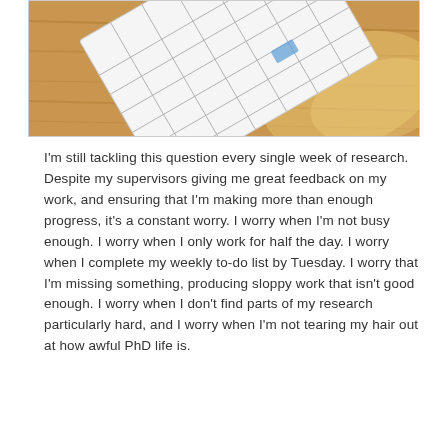[Figure (photo): A calendar/planner lying on a wooden table surface, viewed from above at an angle, with some transparent fabric visible. The planner is open showing a grid of blank calendar squares.]
I'm still tackling this question every single week of research. Despite my supervisors giving me great feedback on my work, and ensuring that I'm making more than enough progress, it's a constant worry. I worry when I'm not busy enough. I worry when I only work for half the day. I worry when I complete my weekly to-do list by Tuesday. I worry that I'm missing something, producing sloppy work that isn't good enough. I worry when I don't find parts of my research particularly hard, and I worry when I'm not tearing my hair out at how awful PhD life is.